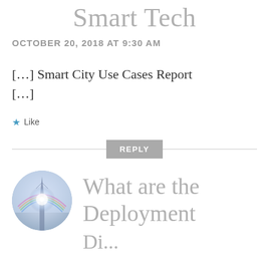Smart Tech
OCTOBER 20, 2018 AT 9:30 AM
[…] Smart City Use Cases Report […]
★ Like
REPLY
[Figure (photo): Circular avatar photo showing a abstract/architectural image with rainbow lens flare effect]
What are the Deployment Di...